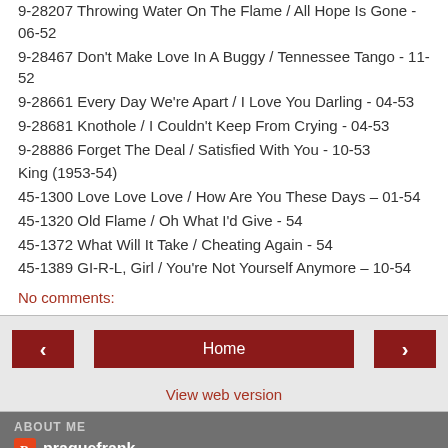9-28207 Throwing Water On The Flame / All Hope Is Gone - 06-52
9-28467 Don't Make Love In A Buggy / Tennessee Tango - 11-52
9-28661 Every Day We're Apart / I Love You Darling - 04-53
9-28681 Knothole / I Couldn't Keep From Crying - 04-53
9-28886 Forget The Deal / Satisfied With You - 10-53
King (1953-54)
45-1300 Love Love Love / How Are You These Days – 01-54
45-1320 Old Flame / Oh What I'd Give - 54
45-1372 What Will It Take / Cheating Again - 54
45-1389 GI-R-L, Girl / You're Not Yourself Anymore – 10-54
No comments:
ABOUT ME
praguefrank